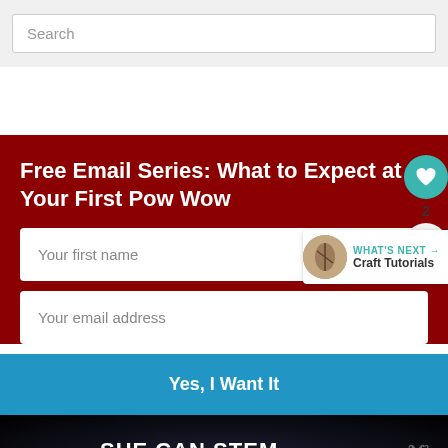Search
Free Email Series: What to Expect at Your First Pow Wow
Your first name
Your email address
Yes, I Want It
2
WHAT'S NEXT → Craft Tutorials
SHE CAN STEM